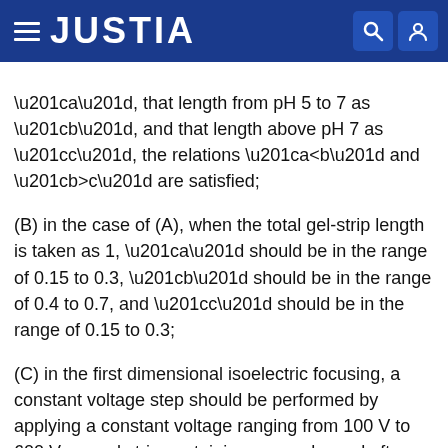JUSTIA
“a”, that length from pH 5 to 7 as “b”, and that length above pH 7 as “c”, the relations “a<b” and “b>c” are satisfied; (B) in the case of (A), when the total gel-strip length is taken as 1, “a” should be in the range of 0.15 to 0.3, “b” should be in the range of 0.4 to 0.7, and “c” should be in the range of 0.15 to 0.3; (C) in the first dimensional isoelectric focusing, a constant voltage step should be performed by applying a constant voltage ranging from 100 V to 600 V per gel strip containing a sample, and after the electrophoresis variation width during electrophoresis for 30 minutes falls within the range of 5 μA, a voltage-increasing step should be started at which the voltage is increased from the aforementioned constant voltage; (D) in the case of (C), the final voltage at the voltage-increasing step should be in the range of 3000 V to 6000